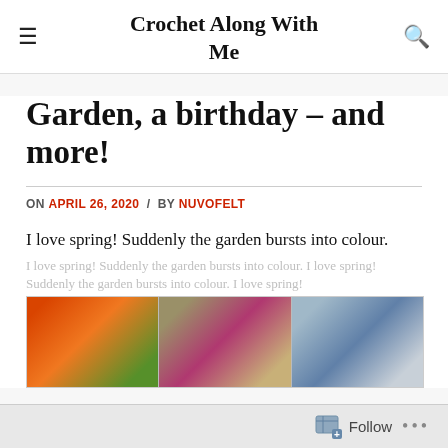Crochet Along With Me
Garden, a birthday – and more!
ON APRIL 26, 2020 / BY NUVOFELT
I love spring! Suddenly the garden bursts into colour.
[Figure (photo): Three garden photos side by side: orange tulips with green foliage, a pink/magenta tulip on gravel, and blue/grey flowering shrubs]
Follow ...